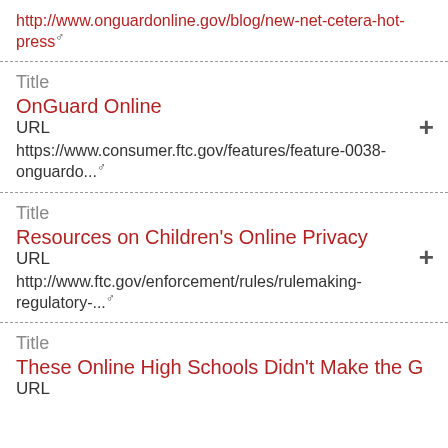http://www.onguardonline.gov/blog/new-net-cetera-hot-press
Title
OnGuard Online
URL
https://www.consumer.ftc.gov/features/feature-0038-onguardo...
Title
Resources on Children's Online Privacy
URL
http://www.ftc.gov/enforcement/rules/rulemaking-regulatory-...
Title
These Online High Schools Didn't Make the G
URL